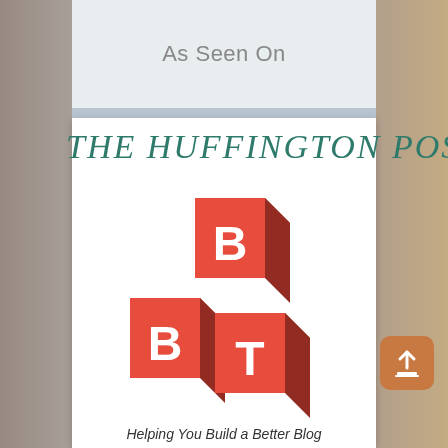As Seen On
[Figure (logo): THE HUFFINGTON POST logo in teal/green serif text]
[Figure (logo): BBT building blocks logo - three red 3D cubes with white letters B, B, T]
[Figure (other): Orange rounded square button with upload/share arrow icon]
Helping You Build a Better Blog